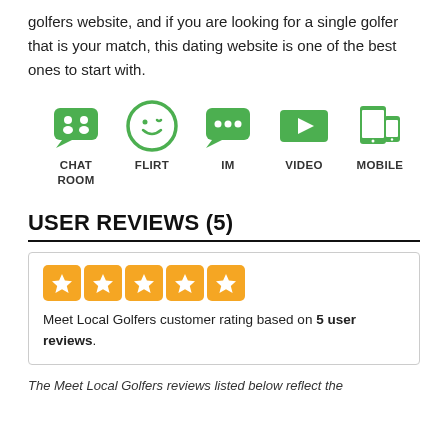golfers website, and if you are looking for a single golfer that is your match, this dating website is one of the best ones to start with.
[Figure (infographic): Five green icons in a row: Chat Room (speech bubble with people), Flirt (smiley face), IM (speech bubble with dots), Video (play button), Mobile (phone/tablet). Each icon has a label below it.]
USER REVIEWS (5)
[Figure (infographic): Five orange star rating boxes in a row, indicating a 5-star rating. Below: 'Meet Local Golfers customer rating based on 5 user reviews.']
The Meet Local Golfers reviews listed below reflect the